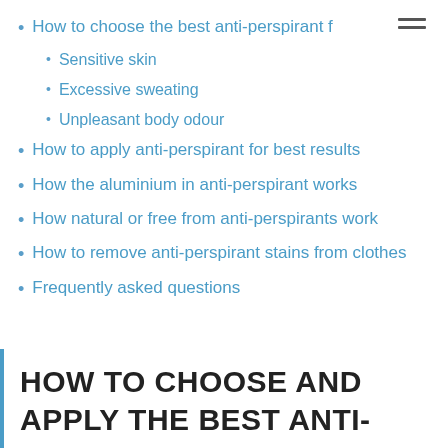How to choose the best anti-perspirant f
Sensitive skin
Excessive sweating
Unpleasant body odour
How to apply anti-perspirant for best results
How the aluminium in anti-perspirant works
How natural or free from anti-perspirants work
How to remove anti-perspirant stains from clothes
Frequently asked questions
HOW TO CHOOSE AND APPLY THE BEST ANTI-